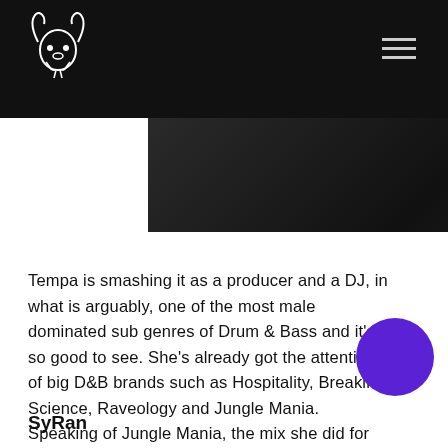Navigation header with logo and hamburger menu
[Figure (photo): Dark textured/grunge background image strip]
Tempa is smashing it as a producer and a DJ, in what is arguably, one of the most male dominated sub genres of Drum & Bass and it’s so good to see. She’s already got the attention of big D&B brands such as Hospitality, Breakin Science, Raveology and Jungle Mania. Speaking of Jungle Mania, the mix she did for them a few months ago was sick!
SyRan